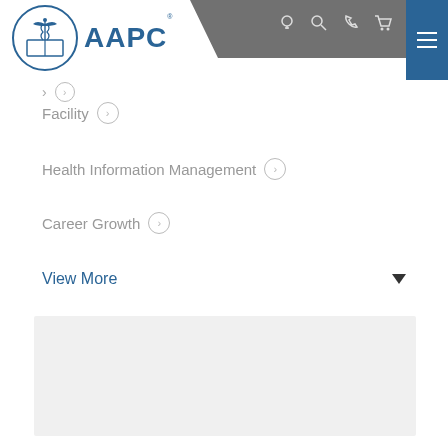[Figure (logo): AAPC logo with circular emblem and blue text]
Facility
Health Information Management
Career Growth
View More
[Figure (other): Gray placeholder content box]